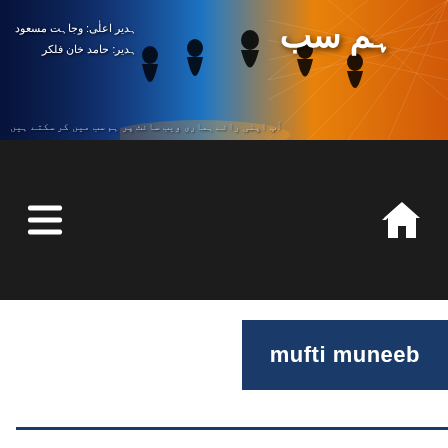[Figure (screenshot): Website banner with blue-orange gradient background, silhouettes of people with raised arms, Urdu text title 'ہم سب' and Urdu tagline text on left side]
[Figure (screenshot): Dark navigation bar with hamburger menu icon on left and home icon on right]
mufti muneeb